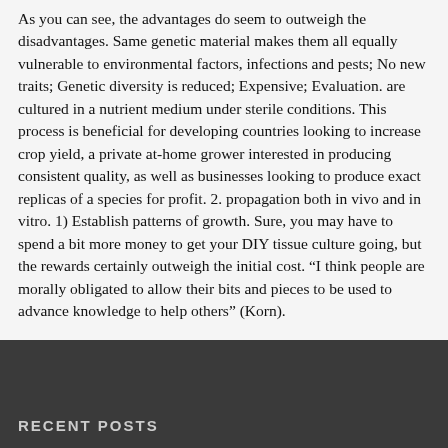As you can see, the advantages do seem to outweigh the disadvantages. Same genetic material makes them all equally vulnerable to environmental factors, infections and pests; No new traits; Genetic diversity is reduced; Expensive; Evaluation. are cultured in a nutrient medium under sterile conditions. This process is beneficial for developing countries looking to increase crop yield, a private at-home grower interested in producing consistent quality, as well as businesses looking to produce exact replicas of a species for profit. 2. propagation both in vivo and in vitro. 1) Establish patterns of growth. Sure, you may have to spend a bit more money to get your DIY tissue culture going, but the rewards certainly outweigh the initial cost. “I think people are morally obligated to allow their bits and pieces to be used to advance knowledge to help others” (Korn).
RECENT POSTS